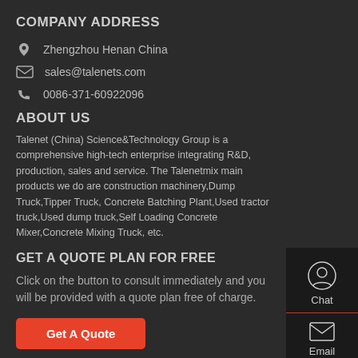COMPANY ADDRESS
Zhengzhou Henan China
sales@talenets.com
0086-371-60922096
ABOUT US
Talenet (China) Science&Technology Group is a comprehensive high-tech enterprise integrating R&D, production, sales and service. The Talenetmix main products we do are construction machinery,Dump Truck,Tipper Truck, Concrete Batching Plant,Used tractor truck,Used dump truck,Self Loading Concrete Mixer,Concrete Mixing Truck, etc.
GET A QUOTE PLAN FOR FREE
Click on the button to consult immediately and you will be provided with a quote plan free of charge.
Get A Quote